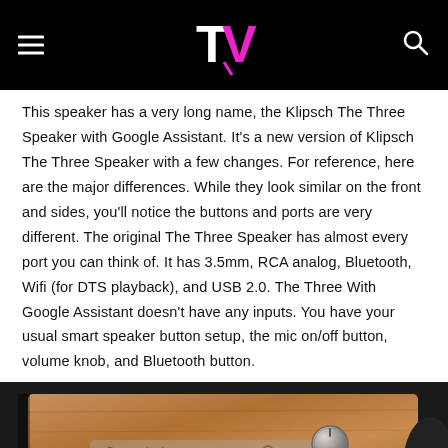TV [logo with hamburger menu and search icon]
This speaker has a very long name, the Klipsch The Three Speaker with Google Assistant. It's a new version of Klipsch The Three Speaker with a few changes. For reference, here are the major differences. While they look similar on the front and sides, you'll notice the buttons and ports are very different. The original The Three Speaker has almost every port you can think of. It has 3.5mm, RCA analog, Bluetooth, Wifi (for DTS playback), and USB 2.0. The Three With Google Assistant doesn't have any inputs. You have your usual smart speaker button setup, the mic on/off button, volume knob, and Bluetooth button.
[Figure (photo): Top view of the Klipsch The Three Speaker with Google Assistant, showing the wooden top panel with a control strip and metal volume knob, and fabric grille below. Dark background.]